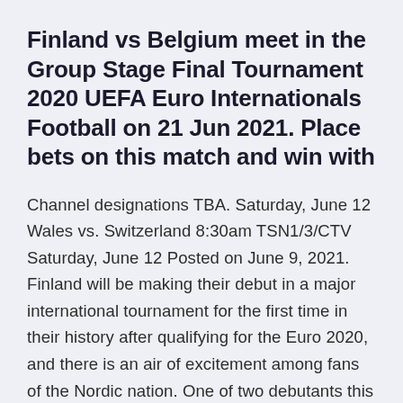Finland vs Belgium meet in the Group Stage Final Tournament 2020 UEFA Euro Internationals Football on 21 Jun 2021. Place bets on this match and win with
Channel designations TBA. Saturday, June 12 Wales vs. Switzerland 8:30am TSN1/3/CTV Saturday, June 12 Posted on June 9, 2021. Finland will be making their debut in a major international tournament for the first time in their history after qualifying for the Euro 2020, and there is an air of excitement among fans of the Nordic nation. One of two debutants this summer alongside North Macedonia, Finland fans are thrilled to see their team play In group B, Belgium is the top-most team with star players. Now, let's have a look at Euro